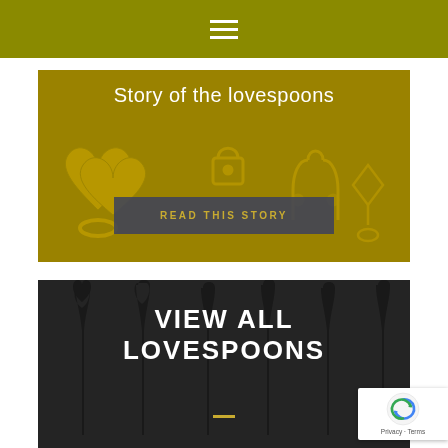Navigation menu (hamburger icon)
[Figure (photo): Banner image showing decorative wooden lovespoons on golden/olive background with overlay text 'Story of the lovespoons' and a button 'READ THIS STORY']
Story of the lovespoons
READ THIS STORY
[Figure (photo): Dark banner image showing black lovespoon silhouettes with bold white text 'VIEW ALL LOVESPOONS' and a gold underline]
VIEW ALL LOVESPOONS